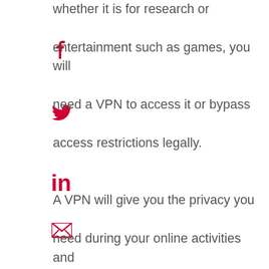whether it is for research or entertainment such as games, you will need a VPN to access it or bypass access restrictions legally.

A VPN will give you the privacy you need during your online activities and protect you against hackers and malicious parties looking to get unauthorized access to your information.